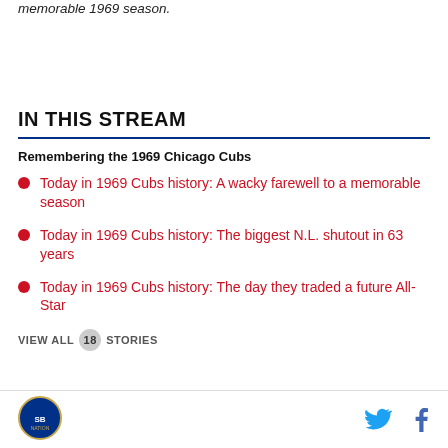memorable 1969 season.
IN THIS STREAM
Remembering the 1969 Chicago Cubs
Today in 1969 Cubs history: A wacky farewell to a memorable season
Today in 1969 Cubs history: The biggest N.L. shutout in 63 years
Today in 1969 Cubs history: The day they traded a future All-Star
VIEW ALL 18 STORIES
[Figure (logo): Site logo circular badge]